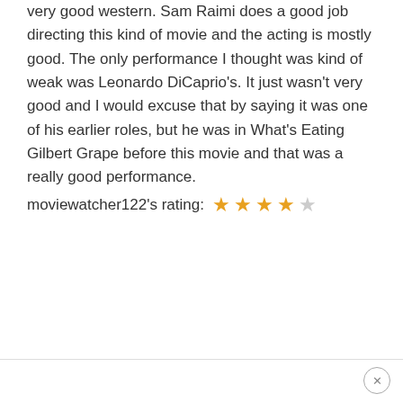very good western. Sam Raimi does a good job directing this kind of movie and the acting is mostly good. The only performance I thought was kind of weak was Leonardo DiCaprio's. It just wasn't very good and I would excuse that by saying it was one of his earlier roles, but he was in What's Eating Gilbert Grape before this movie and that was a really good performance.
moviewatcher122's rating: ★★★★☆